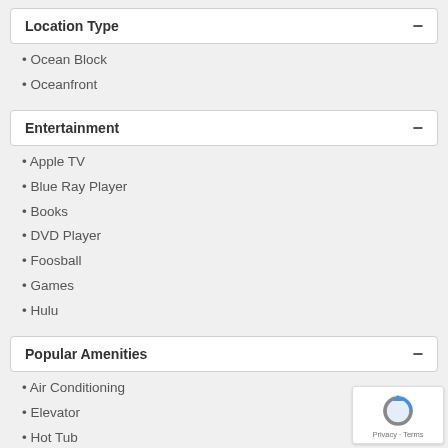Location Type
Ocean Block
Oceanfront
Entertainment
Apple TV
Blue Ray Player
Books
DVD Player
Foosball
Games
Hulu
Popular Amenities
Air Conditioning
Elevator
Hot Tub
Pool